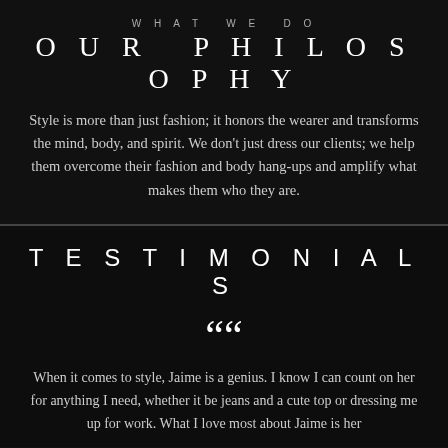WHAT WE DO
OUR PHILOSOPHY
Style is more than just fashion; it honors the wearer and transforms the mind, body, and spirit. We don't just dress our clients; we help them overcome their fashion and body hang-ups and amplify what makes them who they are.
TESTIMONIALS
““
When it comes to style, Jaime is a genius. I know I can count on her for anything I need, whether it be jeans and a cute top or dressing me up for work. What I love most about Jaime is her